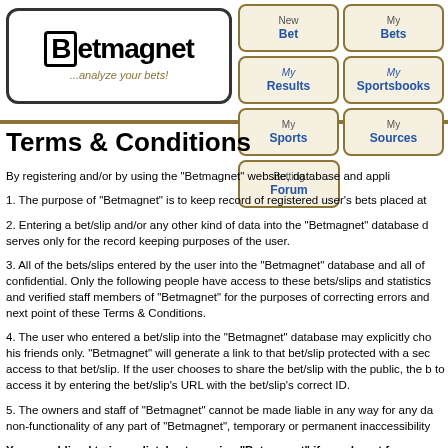Betmagnet ...analyze your bets!
[Figure (logo): Betmagnet logo with magnet icon and tagline '...analyze your bets!']
Terms & Conditions
By registering and/or by using the "Betmagnet" website, database and appli
1. The purpose of "Betmagnet" is to keep record of registered user's bets placed at
2. Entering a bet/slip and/or any other kind of data into the "Betmagnet" database d serves only for the record keeping purposes of the user.
3. All of the bets/slips entered by the user into the "Betmagnet" database and all of confidential. Only the following people have access to these bets/slips and statistics and verified staff members of "Betmagnet" for the purposes of correcting errors and next point of these Terms & Conditions.
4. The user who entered a bet/slip into the "Betmagnet" database may explicitly cho his friends only. "Betmagnet" will generate a link to that bet/slip protected with a sec access to that bet/slip. If the user chooses to share the bet/slip with the public, the b to access it by entering the bet/slip's URL with the bet/slip's correct ID.
5. The owners and staff of "Betmagnet" cannot be made liable in any way for any da non-functionality of any part of "Betmagnet", temporary or permanent inaccessibility
You are obliged to immediately stop using "Betmagnet" if you do not f administrator of "Betmagnet" to delete all your data from the "Betmag info@betmagnet.com.